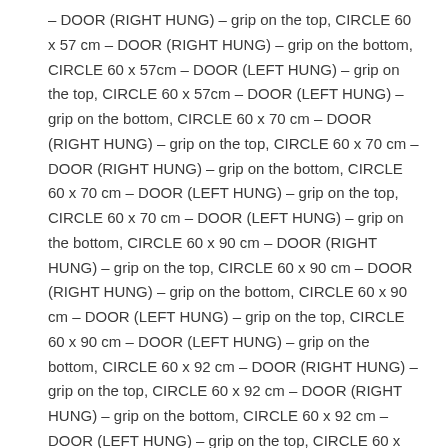– DOOR (RIGHT HUNG) – grip on the top, CIRCLE 60 x 57 cm – DOOR (RIGHT HUNG) – grip on the bottom, CIRCLE 60 x 57cm – DOOR (LEFT HUNG) – grip on the top, CIRCLE 60 x 57cm – DOOR (LEFT HUNG) – grip on the bottom, CIRCLE 60 x 70 cm – DOOR (RIGHT HUNG) – grip on the top, CIRCLE 60 x 70 cm – DOOR (RIGHT HUNG) – grip on the bottom, CIRCLE 60 x 70 cm – DOOR (LEFT HUNG) – grip on the top, CIRCLE 60 x 70 cm – DOOR (LEFT HUNG) – grip on the bottom, CIRCLE 60 x 90 cm – DOOR (RIGHT HUNG) – grip on the top, CIRCLE 60 x 90 cm – DOOR (RIGHT HUNG) – grip on the bottom, CIRCLE 60 x 90 cm – DOOR (LEFT HUNG) – grip on the top, CIRCLE 60 x 90 cm – DOOR (LEFT HUNG) – grip on the bottom, CIRCLE 60 x 92 cm – DOOR (RIGHT HUNG) – grip on the top, CIRCLE 60 x 92 cm – DOOR (RIGHT HUNG) – grip on the bottom, CIRCLE 60 x 92 cm – DOOR (LEFT HUNG) – grip on the top, CIRCLE 60 x 92 cm – DOOR (LEFT HUNG) – grip on the bottom, CIRCLE 60 x 125 cm – DOOR (RIGHT